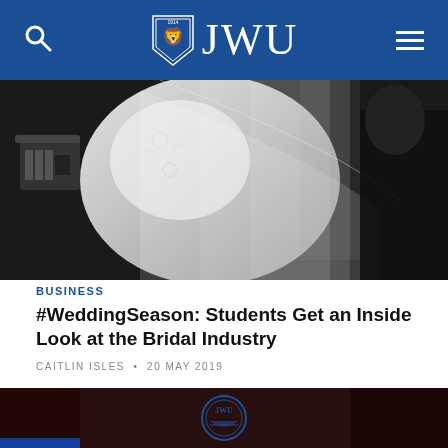JWU
[Figure (photo): Black and white photo of a wedding dress with lace details being examined in a studio setting with sewing equipment visible]
BUSINESS
#WeddingSeason: Students Get an Inside Look at the Bridal Industry
CAITLIN ISLES • 20 MAY 2019
[Figure (photo): Partial view of a dark venue with a JWU seal/logo visible in blue]